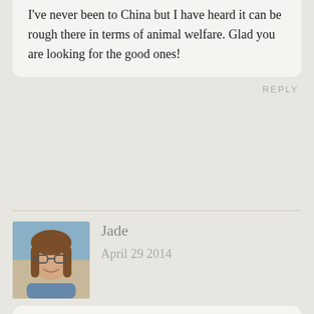I've never been to China but I have heard it can be rough there in terms of animal welfare. Glad you are looking for the good ones!
REPLY
[Figure (photo): Avatar photo of Jade, a young woman with glasses and long brown hair]
Jade
April 29 2014
I've always wanted to try horse-riding while I've been travelling but having an allergy and not knowing what proper medication I need has always stopped me. Maybe I need to try it out, because this looks glorious!
REPLY